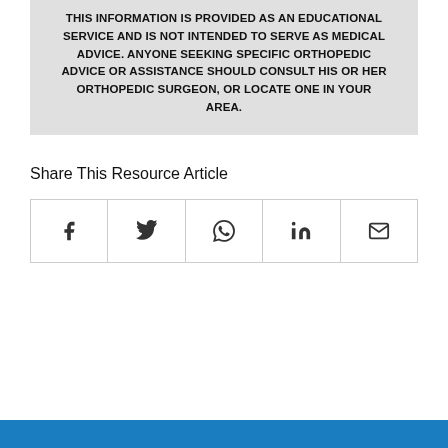THIS INFORMATION IS PROVIDED AS AN EDUCATIONAL SERVICE AND IS NOT INTENDED TO SERVE AS MEDICAL ADVICE. ANYONE SEEKING SPECIFIC ORTHOPEDIC ADVICE OR ASSISTANCE SHOULD CONSULT HIS OR HER ORTHOPEDIC SURGEON, OR LOCATE ONE IN YOUR AREA.
Share This Resource Article
[Figure (other): Row of five social share icon buttons: Facebook, Twitter, WhatsApp, LinkedIn, Email]